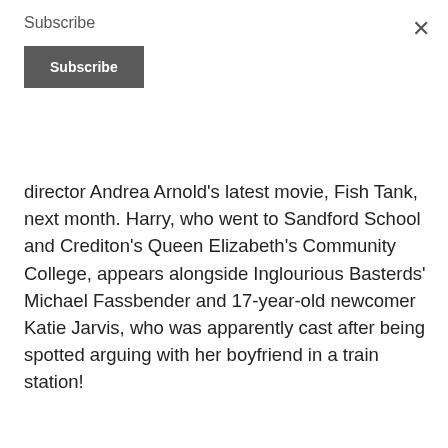Subscribe
Subscribe
director Andrea Arnold's latest movie, Fish Tank, next month. Harry, who went to Sandford School and Crediton's Queen Elizabeth's Community College, appears alongside Inglourious Basterds' Michael Fassbender and 17-year-old newcomer Katie Jarvis, who was apparently cast after being spotted arguing with her boyfriend in a train station!
Share this:
Facebook
LinkedIn
Twitter
WhatsApp
FILED UNDER: ACTING, LOCAL, NATIONAL, NEWS
TAGGED WITH: ANDREA ARNOLD, BASTERDS, BRITISH CINEMA